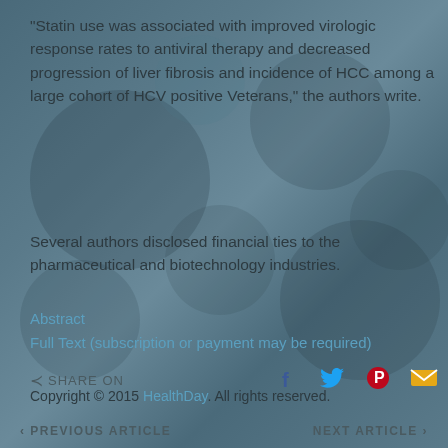“Statin use was associated with improved virologic response rates to antiviral therapy and decreased progression of liver fibrosis and incidence of HCC among a large cohort of HCV positive Veterans,” the authors write.
Several authors disclosed financial ties to the pharmaceutical and biotechnology industries.
Abstract
Full Text (subscription or payment may be required)
Copyright © 2015 HealthDay. All rights reserved.
SHARE ON
PREVIOUS ARTICLE
NEXT ARTICLE